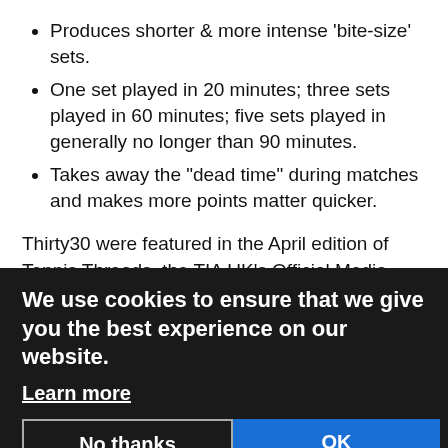Produces shorter & more intense 'bite-size' sets.
One set played in 20 minutes; three sets played in 60 minutes; five sets played in generally no longer than 90 minutes.
Takes away the "dead time" during matches and makes more points matter quicker.
Thirty30 were featured in the April edition of Tennis Threads, the TIA UK's Official Media Partner.  In the article Mark Milne the Promotor from Arbroath, Scotland explains that Thirty30 uses the traditional scoring system – it just starts at 30-all!  It is a seamless simple transition for players. Affordable. Accessible. Efficient.
Endorsed by Arbroath LTC where Club Coach Ruaridh MacLeod has used the format for his older juniors who said it was faster, more play and more exciting and perhaps most importantly, more fun.
We use cookies to ensure that we give you the best experience on our website.
Learn more
Contact Mark Milne: contact@thirty30tennis.com